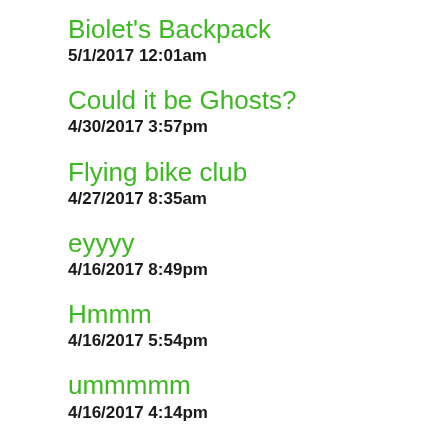Biolet's Backpack
5/1/2017 12:01am
Could it be Ghosts?
4/30/2017 3:57pm
Flying bike club
4/27/2017 8:35am
eyyyy
4/16/2017 8:49pm
Hmmm
4/16/2017 5:54pm
ummmmm
4/16/2017 4:14pm